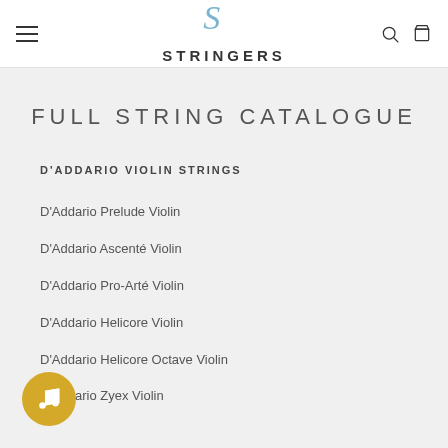STRINGERS
FULL STRING CATALOGUE
D'ADDARIO VIOLIN STRINGS
D'Addario Prelude Violin
D'Addario Ascenté Violin
D'Addario Pro-Arté Violin
D'Addario Helicore Violin
D'Addario Helicore Octave Violin
D'Addario Zyex Violin